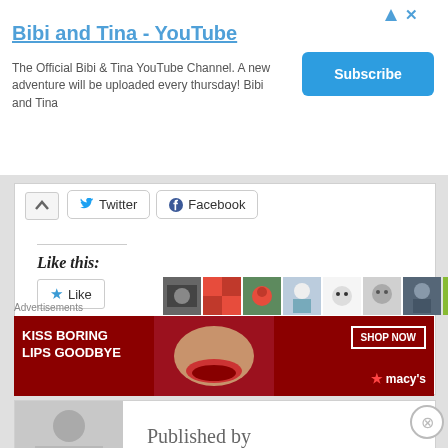[Figure (screenshot): YouTube channel ad banner for Bibi and Tina with Subscribe button]
Bibi and Tina - YouTube
The Official Bibi & Tina YouTube Channel. A new adventure will be uploaded every thursday! Bibi and Tina
[Figure (screenshot): Twitter and Facebook share buttons with up arrow]
Like this:
[Figure (screenshot): Like button with star and blogger avatar thumbnails]
16 bloggers like this.
POSTED IN VOD
Published by
Advertisements
[Figure (screenshot): Macy's advertisement: KISS BORING LIPS GOODBYE with SHOP NOW button and Macy's logo]